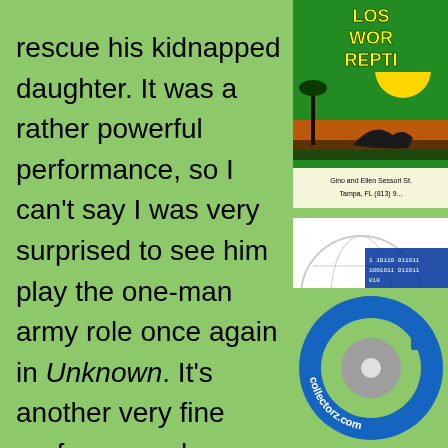rescue his kidnapped daughter. It was a rather powerful performance, so I can't say I was very surprised to see him play the one-man army role once again in Unknown. It's another very fine performance by Neeson, but this time the film itself doesn't quite hold up to the previous outing.

Dr. Martin Harris (Neeson) is a scientist attending a conference in Germany with his wife Elizabeth (Jones). On his way to the hotel he is in a serious car crash that sends his taxi into
[Figure (illustration): Book or comic cover with green and yellow colors, text reading LOS WOR REPTI (partially visible), with a tropical scene showing dinosaur/reptile silhouettes, credited to Gino and Ellen Sessori, Tampa FL phone number partially visible]
[Figure (illustration): A globe/world graphic with binary code (0s and 1s) overlaid in blue and white, representing digital/internet concept]
[Figure (logo): Collectorz.com circular logo in blue and gray colors with the website name curved around it]